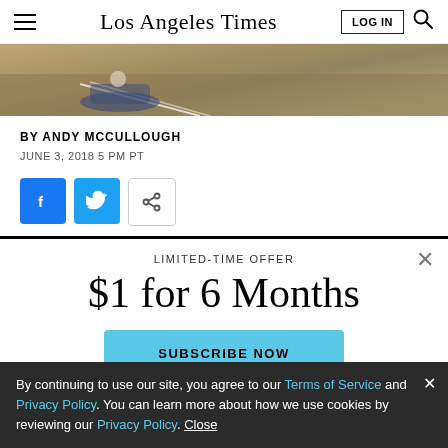Los Angeles Times — LOG IN
[Figure (photo): Sports action photo strip showing a baseball player sliding on a dirt field]
BY ANDY MCCULLOUGH
JUNE 3, 2018 5 PM PT
[Figure (other): Social share buttons: Facebook, Twitter, Share]
LIMITED-TIME OFFER
$1 for 6 Months
SUBSCRIBE NOW
By continuing to use our site, you agree to our Terms of Service and Privacy Policy. You can learn more about how we use cookies by reviewing our Privacy Policy. Close